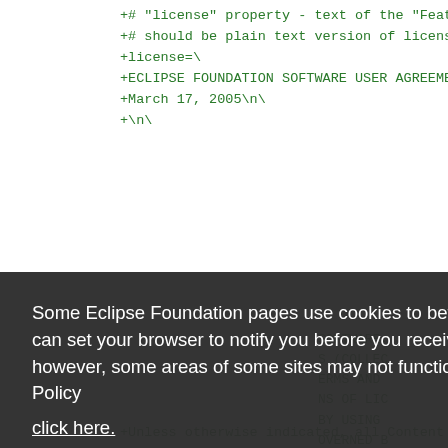+# "license" property - text of the "Feature Upda
+# should be plain text version of license agreem
+license=\
+ECLIPSE FOUNDATION SOFTWARE USER AGREEMENT\n\
+March 17, 2005\n\
+\n\
Some Eclipse Foundation pages use cookies to better serve you when you return to the site. You can set your browser to notify you before you receive a cookie or turn off cookies. If you do so, however, some areas of some sites may not function properly. To read Eclipse Foundation Privacy Policy
click here.
Decline
Allow cookies
+Unless otherwise indicated, all Content made ava